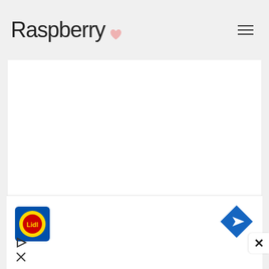Raspberry
[Figure (photo): Large white blank content area / article image placeholder]
When describing any culture, an important role is played not only by the characteristics of the fruit, but also by the characteristics of the plant itself, which the fruit grows on from
[Figure (other): Advertisement banner with Lidl logo on left, blue navigation arrow diamond on right, play button and close X on lower left]